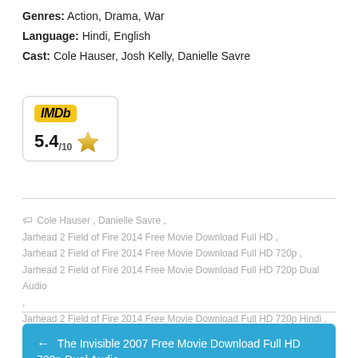Genres: Action, Drama, War
Language: Hindi, English
Cast: Cole Hauser, Josh Kelly, Danielle Savre
[Figure (other): IMDb rating box showing score 5.4/10 with a gold star icon]
Cole Hauser , Danielle Savre , Jarhead 2 Field of Fire 2014 Free Movie Download Full HD , Jarhead 2 Field of Fire 2014 Free Movie Download Full HD 720p , Jarhead 2 Field of Fire 2014 Free Movie Download Full HD 720p Dual Audio , Jarhead 2 Field of Fire 2014 Free Movie Download Full HD 720p Hindi , Josh Kelly
← The Invisible 2007 Free Movie Download Full HD 720p Dual Audio